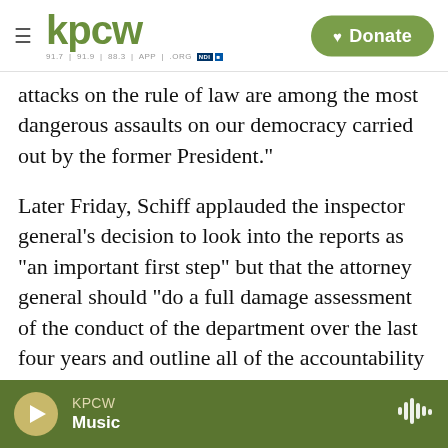KPCW — Navigation header with logo and Donate button
attacks on the rule of law are among the most dangerous assaults on our democracy carried out by the former President."
Later Friday, Schiff applauded the inspector general's decision to look into the reports as "an important first step" but that the attorney general should "do a full damage assessment of the conduct of the department over the last four years and outline all of the accountability and mitigation necessary to protect the public going forward."
The House Intelligence Committee conducted an
KPCW — Music (player bar)